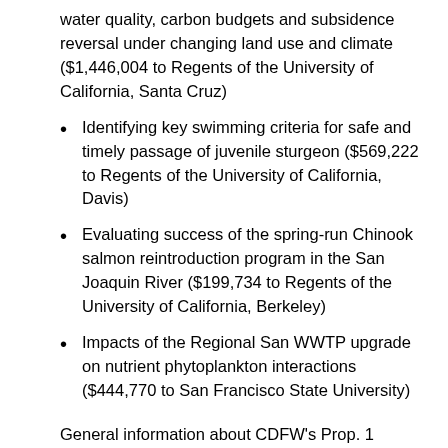water quality, carbon budgets and subsidence reversal under changing land use and climate ($1,446,004 to Regents of the University of California, Santa Cruz)
Identifying key swimming criteria for safe and timely passage of juvenile sturgeon ($569,222 to Regents of the University of California, Davis)
Evaluating success of the spring-run Chinook salmon reintroduction program in the San Joaquin River ($199,734 to Regents of the University of California, Berkeley)
Impacts of the Regional San WWTP upgrade on nutrient phytoplankton interactions ($444,770 to San Francisco State University)
General information about CDFW’s Prop. 1